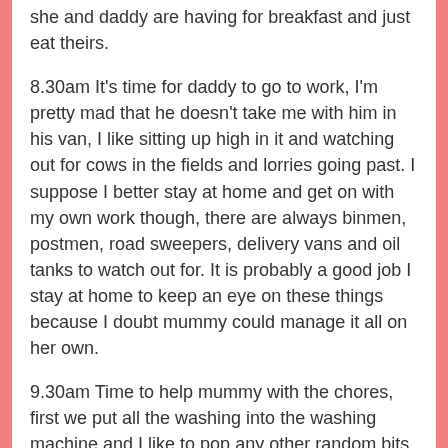she and daddy are having for breakfast and just eat theirs.
8.30am It's time for daddy to go to work, I'm pretty mad that he doesn't take me with him in his van, I like sitting up high in it and watching out for cows in the fields and lorries going past. I suppose I better stay at home and get on with my own work though, there are always binmen, postmen, road sweepers, delivery vans and oil tanks to watch out for. It is probably a good job I stay at home to keep an eye on these things because I doubt mummy could manage it all on her own.
9.30am Time to help mummy with the chores, first we put all the washing into the washing machine and I like to pop any other random bits and pieces I find lying around in too just so everything is nice and clean.